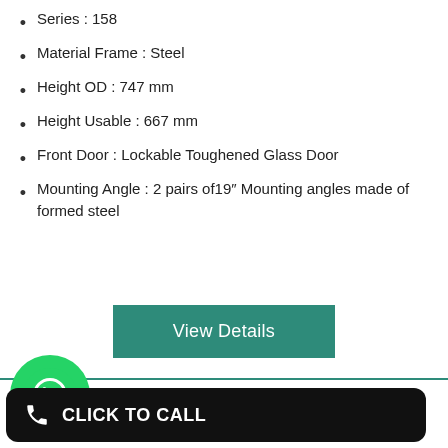Series : 758
Material Frame : Steel
Height OD : 747 mm
Height Usable : 667 mm
Front Door : Lockable Toughened Glass Door
Mounting Angle : 2 pairs of19″ Mounting angles made of formed steel
[Figure (other): View Details button (teal/green background with white text)]
[Figure (other): WhatsApp icon (green circle with white phone handset) and CLICK TO CALL button (black rounded rectangle with white phone icon and text)]